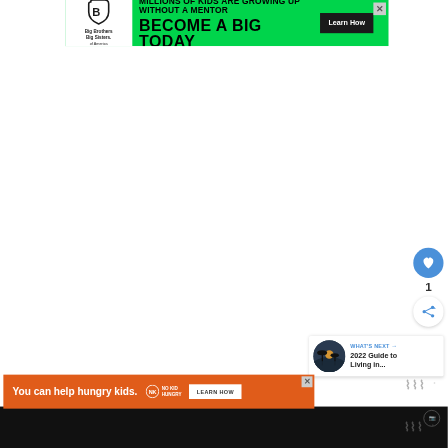[Figure (screenshot): Green advertisement banner for Big Brothers Big Sisters of America. Text: 'MILLIONS OF KIDS ARE GROWING UP WITHOUT A MENTOR. BECOME A BIG TODAY. Learn How.' with logo and close button.]
[Figure (screenshot): UI widget panel on the right side: circular blue heart/like button, count '1', circular share button with blue share icon.]
1
[Figure (screenshot): What's Next card with thumbnail of palm trees silhouette at sunset, label 'WHAT'S NEXT →', and text '2022 Guide to Living in...']
[Figure (logo): Wavy/squiggly logo watermark in gray]
[Figure (screenshot): Orange advertisement banner at the bottom: 'You can help hungry kids.' with No Kid Hungry logo and 'LEARN HOW' button. Close X button in corner.]